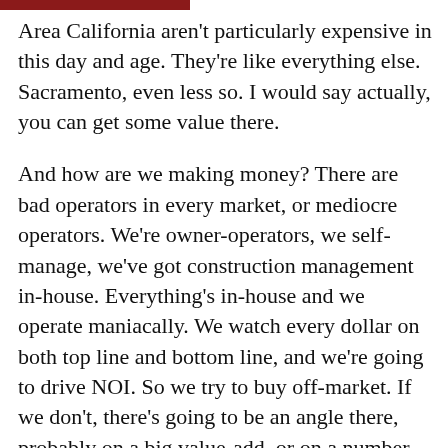Area California aren't particularly expensive in this day and age. They're like everything else. Sacramento, even less so. I would say actually, you can get some value there.
And how are we making money? There are bad operators in every market, or mediocre operators. We're owner-operators, we self-manage, we've got construction management in-house. Everything's in-house and we operate maniacally. We watch every dollar on both top line and bottom line, and we're going to drive NOI. So we try to buy off-market. If we don't, there's going to be an angle there, probably on a big value-add, or on a number that makes sense, or both. We drive NOI, and that's really the bottom line. Oftentimes, we bring a point...